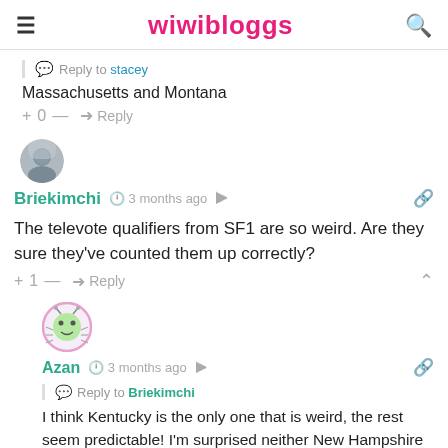wiwibloggs
Reply to stacey
Massachusetts and Montana
+ 0 — ➜ Reply
[Figure (photo): User avatar for Briekimchi - circular photo of a person]
Briekimchi  3 months ago
The televote qualifiers from SF1 are so weird. Are they sure they've counted them up correctly?
+ 1 — ➜ Reply
[Figure (illustration): User avatar for Azan - cartoon character with pink border]
Azan  3 months ago
Reply to Briekimchi
I think Kentucky is the only one that is weird, the rest seem predictable! I'm surprised neither New Hampshire – Mari,